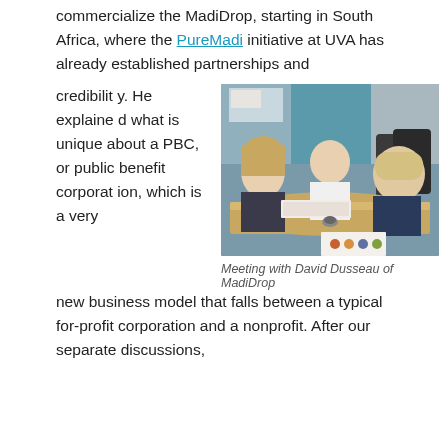commercialize the MadiDrop, starting in South Africa, where the PureMadi initiative at UVA has already established partnerships and
credibility. He explained what is unique about a PBC, or public benefit corporation, which is a very new business model that falls between a typical for-profit corporation and a nonprofit. After our separate discussions,
[Figure (photo): Photo of a meeting with David Dusseau of MadiDrop. Three people are seated around a table, with documents spread out. A man in a white shirt appears to be presenting to a young woman and a young man.]
Meeting with David Dusseau of MadiDrop